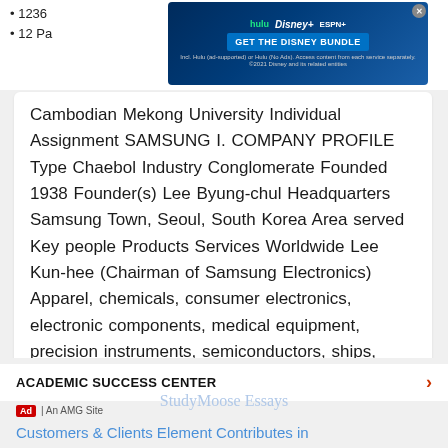1236...
12 Pa...
[Figure (screenshot): Hulu Disney+ ESPN+ advertisement banner: GET THE DISNEY BUNDLE]
Cambodian Mekong University Individual Assignment SAMSUNG I. COMPANY PROFILE Type Chaebol Industry Conglomerate Founded 1938 Founder(s) Lee Byung-chul Headquarters Samsung Town, Seoul, South Korea Area served Key people Products Services Worldwide Lee Kun-hee (Chairman of Samsung Electronics) Apparel, chemicals, consumer electronics, electronic components, medical equipment, precision instruments, semiconductors, ships, telecommunications…
Read More
ACADEMIC SUCCESS CENTER
Ad | An AMG Site
Customers & Clients Element Contributes in